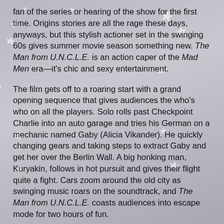fan of the series or hearing of the show for the first time. Origins stories are all the rage these days, anyways, but this stylish actioner set in the swinging 60s gives summer movie season something new. The Man from U.N.C.L.E. is an action caper of the Mad Men era—it's chic and sexy entertainment.
The film gets off to a roaring start with a grand opening sequence that gives audiences the who's who on all the players. Solo rolls past Checkpoint Charlie into an auto garage and tries his German on a mechanic named Gaby (Alicia Vikander). He quickly changing gears and taking steps to extract Gaby and get her over the Berlin Wall. A big honking man, Kuryakin, follows in hot pursuit and gives their flight quite a fight. Cars zoom around the old city as swinging music roars on the soundtrack, and The Man from U.N.C.L.E. coasts audiences into escape mode for two hours of fun.
Solo and Kuryakin soon become begrudging allies when the Yanks and the Russians put their Cold War grievances aside. Their agencies decide to work together in a